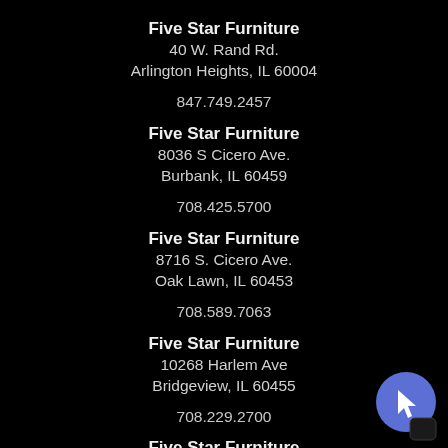Five Star Furniture
40 W. Rand Rd.
Arlington Heights, IL 60004

847.749.2457
Five Star Furniture
8036 S Cicero Ave.
Burbank, IL 60459

708.425.5700
Five Star Furniture
8716 S. Cicero Ave.
Oak Lawn, IL 60453

708.589.7063
Five Star Furniture
10268 Harlem Ave
Bridgeview, IL 60455

708.229.2700
Five Star Furniture
2757 E. 81st Ave.